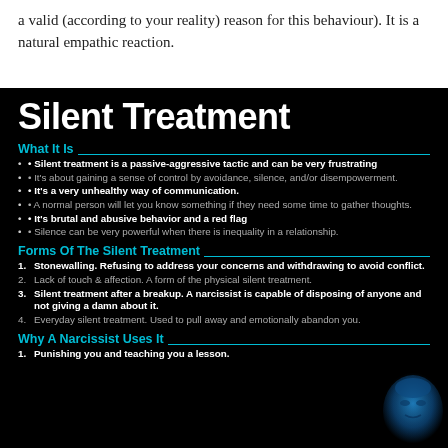a valid (according to your reality) reason for this behaviour). It is a natural empathic reaction.
Silent Treatment
What It Is
Silent treatment is a passive-aggressive tactic and can be very frustrating
It's about gaining a sense of control by avoidance, silence, and/or disempowerment.
It's a very unhealthy way of communication.
A normal person will let you know something if they need some time to gather thoughts.
It's brutal and abusive behavior and a red flag
Silence can be very powerful when there is inequality in a relationship.
Forms Of The Silent Treatment
Stonewalling. Refusing to address your concerns and withdrawing to avoid conflict.
Lack of touch & affection. A form of the physical silent treatment.
Silent treatment after a breakup. A narcissist is capable of disposing of anyone and not giving a damn about it.
Everyday silent treatment. Used to pull away and emotionally abandon you.
Why A Narcissist Uses It
Punishing you and teaching you a lesson.
[Figure (illustration): Blue-toned portrait of a person's head/face against dark background, bottom right corner]